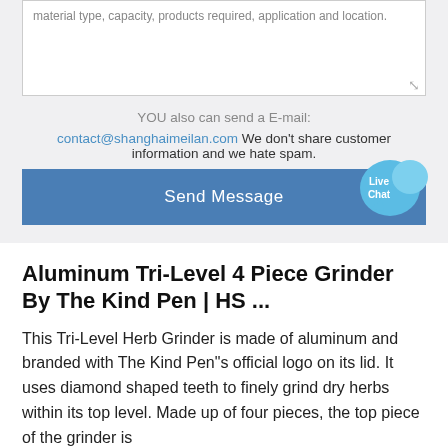material type, capacity, products required, application and location.
YOU also can send a E-mail:
contact@shanghaimeilan.com We don't share customer information and we hate spam.
Send Message
Aluminum Tri-Level 4 Piece Grinder By The Kind Pen | HS ...
This Tri-Level Herb Grinder is made of aluminum and branded with The Kind Pen"s official logo on its lid. It uses diamond shaped teeth to finely grind dry herbs within its top level. Made up of four pieces, the top piece of the grinder is